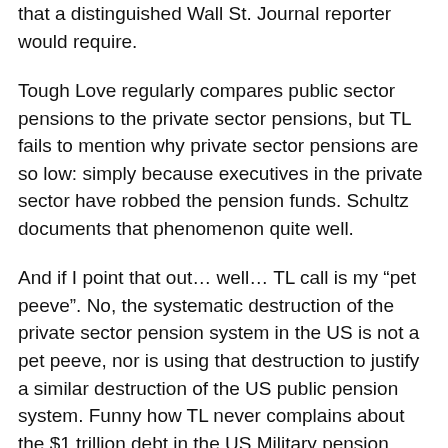that a distinguished Wall St. Journal reporter would require.
Tough Love regularly compares public sector pensions to the private sector pensions, but TL fails to mention why private sector pensions are so low: simply because executives in the private sector have robbed the pension funds. Schultz documents that phenomenon quite well.
And if I point that out… well… TL call is my “pet peeve”. No, the systematic destruction of the private sector pension system in the US is not a pet peeve, nor is using that destruction to justify a similar destruction of the US public pension system. Funny how TL never complains about the $1 trillion debt in the US Military pension